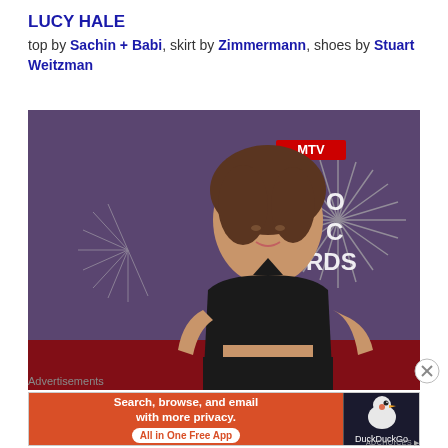LUCY HALE
top by Sachin + Babi, skirt by Zimmermann, shoes by Stuart Weitzman
[Figure (photo): Lucy Hale posing at what appears to be the MTV Video Music Awards red carpet, wearing a black leather crop top halter and black skirt, with an MTV VMA starburst backdrop behind her.]
Advertisements
[Figure (infographic): DuckDuckGo advertisement banner: orange background with text 'Search, browse, and email with more privacy. All in One Free App' on left, DuckDuckGo duck logo on dark right panel.]